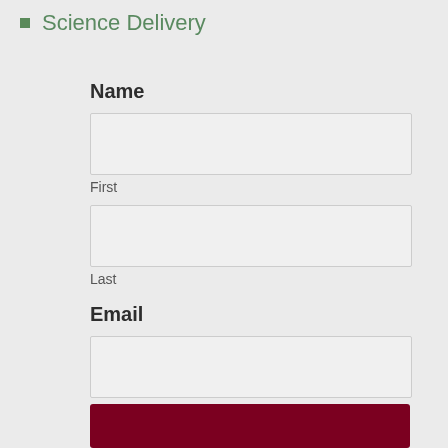Science Delivery
Name
First
Last
Email